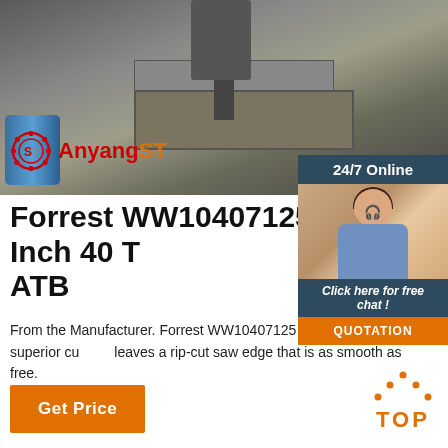[Figure (photo): Industrial machinery photo showing a metal pressing/stamping machine with a blue barrel on the left side. Anyang ST logo overlaid in bottom-left of image.]
Forrest WW10407125 Woodworker II 10-Inch 40 Tooth ATB
From the Manufacturer. Forrest WW10407125 Woodworker II 10-Inch 40 Tooth ATB .125 Kerf Blade with 5/8-Inch Arbors offers a superior cut that leaves a rip-cut saw edge that is as smooth as if it has been sanded, and a cross-cut edge that is almost mark-free.
[Figure (infographic): 24/7 Online chat widget with photo of woman wearing headset, dark blue background, 'Click here for free chat!' text, and orange QUOTATION button]
[Figure (other): Orange TOP navigation button with dot pattern above]
Get Price